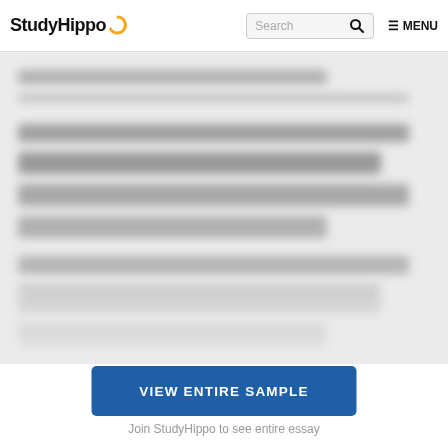StudyHippo | Search | MENU
[Figure (screenshot): Blurred/obscured essay content area, greyed out to prevent reading without account]
VIEW ENTIRE SAMPLE
Join StudyHippo to see entire essay